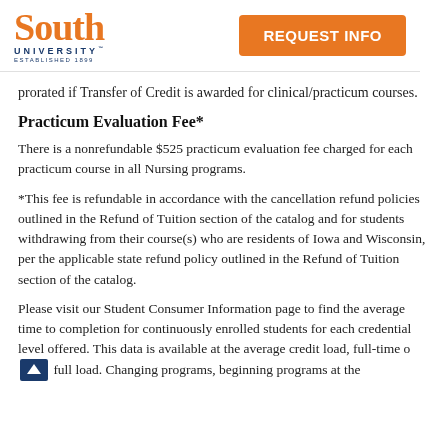South University | REQUEST INFO
prorated if Transfer of Credit is awarded for clinical/practicum courses.
Practicum Evaluation Fee*
There is a nonrefundable $525 practicum evaluation fee charged for each practicum course in all Nursing programs.
*This fee is refundable in accordance with the cancellation refund policies outlined in the Refund of Tuition section of the catalog and for students withdrawing from their course(s) who are residents of Iowa and Wisconsin, per the applicable state refund policy outlined in the Refund of Tuition section of the catalog.
Please visit our Student Consumer Information page to find the average time to completion for continuously enrolled students for each credential level offered. This data is available at the average credit load, full-time or full load. Changing programs, beginning programs at the mid-term, or taking leaves of absence or taking intermissions